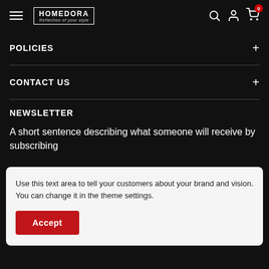HOMEDORA – Reflection of your style
POLICIES
CONTACT US
NEWSLETTER
A short sentence describing what someone will receive by subscribing
Use this text area to tell your customers about your brand and vision. You can change it in the theme settings.
Accept